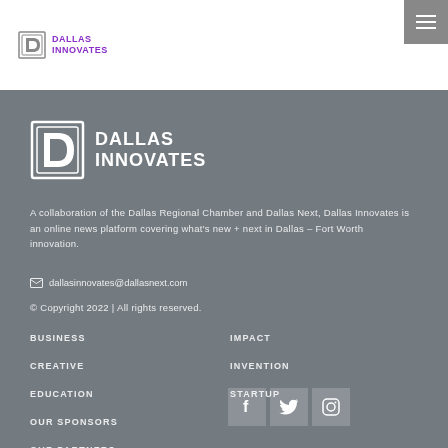Dallas Innovates
[Figure (logo): Dallas Innovates footer logo with white D icon and white text]
A collaboration of the Dallas Regional Chamber and Dallas Next, Dallas Innovates is an online news platform covering what's new + next in Dallas – Fort Worth innovation.
dallasinnovates@dallasnext.com
© Copyright 2022 | All rights reserved.
BUSINESS
CREATIVE
EDUCATION
OUR SPONSORS
OUR PARTNERS
IMPACT
INVENTION
STARTUP
[Figure (illustration): Social media icons: Facebook, Twitter, Instagram]